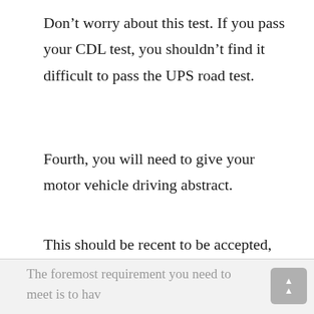Don't worry about this test. If you pass your CDL test, you shouldn't find it difficult to pass the UPS road test.
Fourth, you will need to give your motor vehicle driving abstract.
This should be recent to be accepted, and you should at least be twenty-one years old. Lastly, if you want to be a freight driver at UPS, you will need to meet some requirements.
The foremost requirement you need to meet is to hav